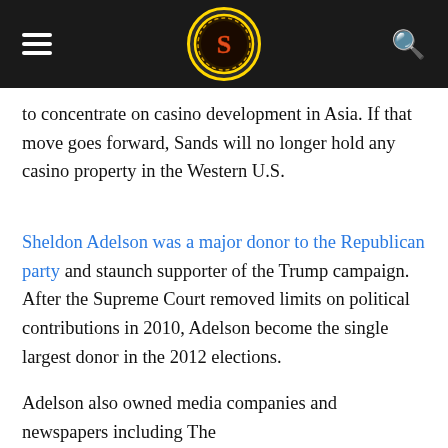[Site logo and navigation bar]
to concentrate on casino development in Asia. If that move goes forward, Sands will no longer hold any casino property in the Western U.S.
Sheldon Adelson was a major donor to the Republican party and staunch supporter of the Trump campaign. After the Supreme Court removed limits on political contributions in 2010, Adelson become the single largest donor in the 2012 elections.
Adelson also owned media companies and newspapers including The